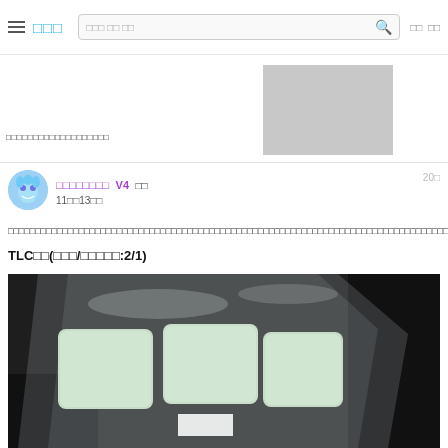≡ □□□  [검색창] 🔍  로그 인
[Figure (photo): Partially visible post image, cropped/redacted with gray block overlay]
□□□□□□□□□□□□□□□□□□□
□□□□□□□□ V4 □□  20□
11□□13□□
□□□□□□□□□□□□□□□□□□□□□□□□□□□□□□□□□□□□□□□□□□□□□□□□□□□□□□□□□□□□□□□□□□□□□□□□□□□□□□□□□□□□□
TLC□□(□□□/□□□□□:2/1)
[Figure (photo): Photo of light green/mint colored rectangular objects (possibly silicone or material samples) in a clear plastic bag on a dark background]